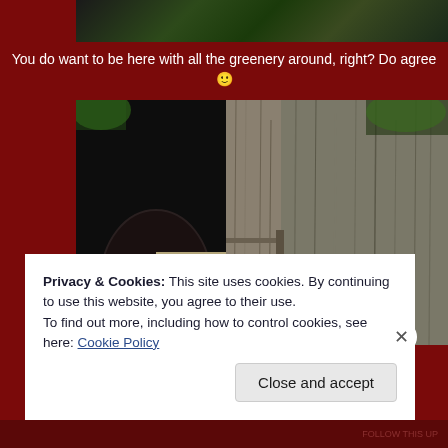[Figure (photo): Partial photo at top showing greenery/trees with dark overlay]
You do want to be here with all the greenery around, right? Do agree 🙂
[Figure (photo): Main photo showing dark wooden barn or stable structure with weathered wood beams and posts, greenery visible at top corners]
Privacy & Cookies: This site uses cookies. By continuing to use this website, you agree to their use.
To find out more, including how to control cookies, see here: Cookie Policy
Close and accept